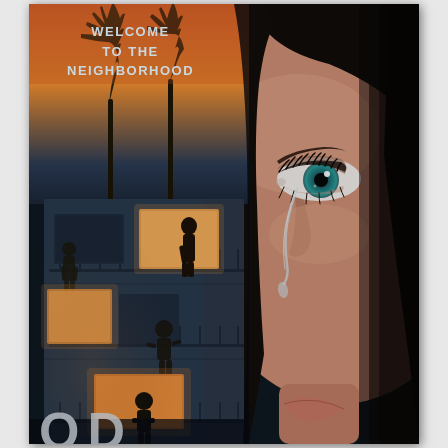[Figure (photo): Movie poster showing a split composition: left half features a moody apartment building at night with silhouetted figures on balconies lit by warm orange interior light, palm trees against a sunset sky above; right half is a close-up of a young woman's face with a striking teal/blue eye and a tear running down her cheek, dark hair framing her face. Text at top reads 'WELCOME TO THE NEIGHBORHOOD'. Partially visible title letters at bottom.]
WELCOME TO THE NEIGHBORHOOD